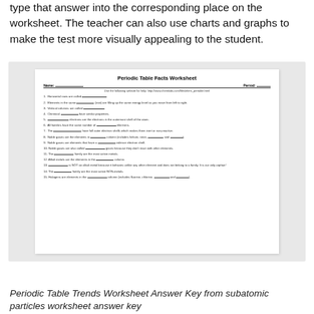type that answer into the corresponding place on the worksheet. The teacher can also use charts and graphs to make the test more visually appealing to the student.
[Figure (screenshot): Screenshot of a Periodic Table Facts Worksheet showing fill-in-the-blank questions about periodic table concepts, with Name/Period fields and a reference URL.]
Periodic Table Trends Worksheet Answer Key from subatomic particles worksheet answer key